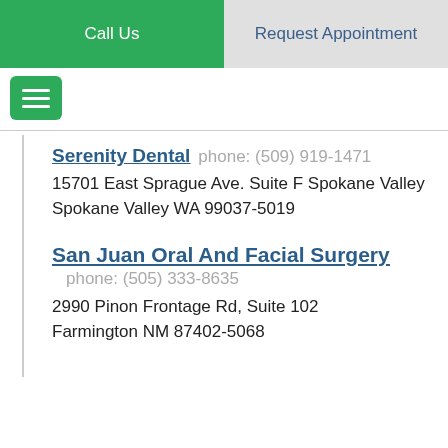Call Us  |  Request Appointment
Serenity Dental  phone: (509) 919-1471
15701 East Sprague Ave. Suite F Spokane Valley
Spokane Valley WA 99037-5019
San Juan Oral And Facial Surgery  phone: (505) 333-8635
2990 Pinon Frontage Rd, Suite 102
Farmington NM 87402-5068